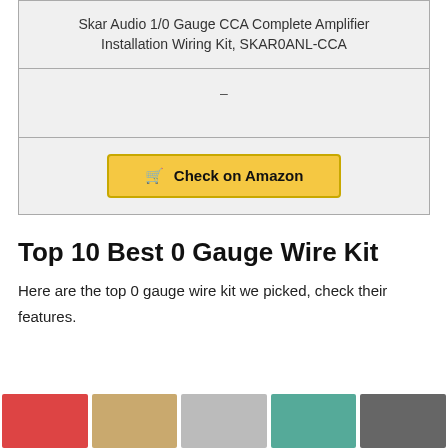| Skar Audio 1/0 Gauge CCA Complete Amplifier Installation Wiring Kit, SKAR0ANL-CCA |
| – |
| Check on Amazon |
Top 10 Best 0 Gauge Wire Kit
Here are the top 0 gauge wire kit we picked, check their features.
[Figure (photo): Row of product images showing wire kits in various colors: red, tan, silver, green, and dark gray coils and bundles.]